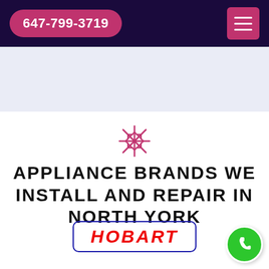647-799-3719
[Figure (illustration): Pink/red snowflake icon centered above heading]
APPLIANCE BRANDS WE INSTALL AND REPAIR IN NORTH YORK
[Figure (logo): HOBART logo in red italic bold text inside a blue rounded rectangle border]